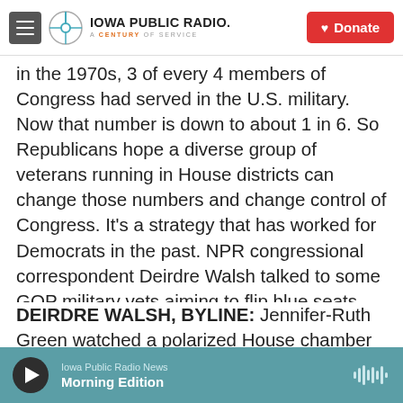Iowa Public Radio — A Century of Service | Donate
in the 1970s, 3 of every 4 members of Congress had served in the U.S. military. Now that number is down to about 1 in 6. So Republicans hope a diverse group of veterans running in House districts can change those numbers and change control of Congress. It's a strategy that has worked for Democrats in the past. NPR congressional correspondent Deirdre Walsh talked to some GOP military vets aiming to flip blue seats red.
DEIRDRE WALSH, BYLINE: Jennifer-Ruth Green watched a polarized House chamber during the 2020 State of the Union address and thought her military background could help change...
Iowa Public Radio News — Morning Edition